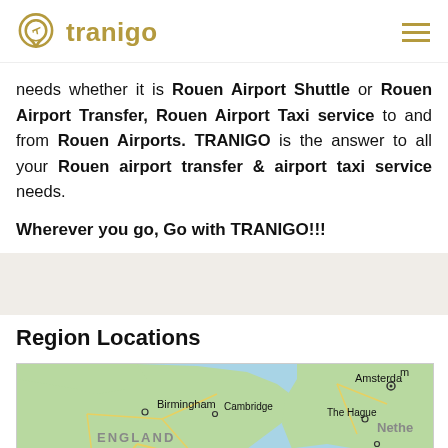tranigo
needs whether it is Rouen Airport Shuttle or Rouen Airport Transfer, Rouen Airport Taxi service to and from Rouen Airports. TRANIGO is the answer to all your Rouen airport transfer & airport taxi service needs.
Wherever you go, Go with TRANIGO!!!
Region Locations
[Figure (map): Map showing region locations including Birmingham, Cambridge, ENGLAND, Amsterdam, The Hague, Netherlands, Rotterdam, Bristol, Cardiff, London]